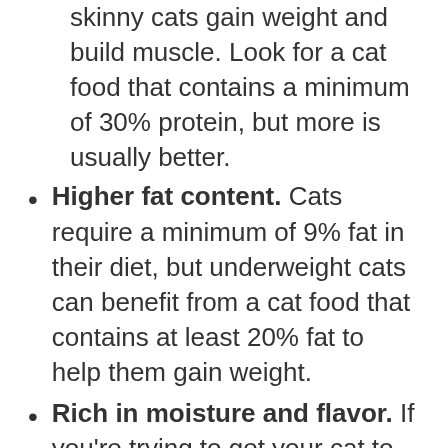this fat is particularly important to help skinny cats gain weight and build muscle. Look for a cat food that contains a minimum of 30% protein, but more is usually better.
Higher fat content. Cats require a minimum of 9% fat in their diet, but underweight cats can benefit from a cat food that contains at least 20% fat to help them gain weight.
Rich in moisture and flavor. If you're trying to get your cat to gain weight, he needs to eat more so choosing a cat food high in moisture and flavor will make it more appealing to your cat.